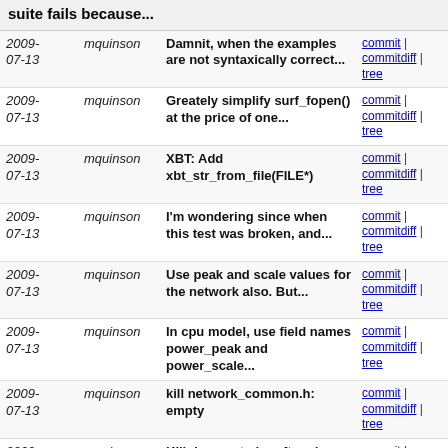suite fails because...
| Date | Author | Message | Links |
| --- | --- | --- | --- |
| 2009-07-13 | mquinson | Damnit, when the examples are not syntaxically correct... | commit | commitdiff | tree |
| 2009-07-13 | mquinson | Greately simplify surf_fopen() at the price of one... | commit | commitdiff | tree |
| 2009-07-13 | mquinson | XBT: Add xbt_str_from_file(FILE*) | commit | commitdiff | tree |
| 2009-07-13 | mquinson | I'm wondering since when this test was broken, and... | commit | commitdiff | tree |
| 2009-07-13 | mquinson | Use peak and scale values for the network also. But... | commit | commitdiff | tree |
| 2009-07-13 | mquinson | In cpu model, use field names power_peak and power_scale... | commit | commitdiff | tree |
| 2009-07-13 | mquinson | kill network_common.h: empty | commit | commitdiff | tree |
| 2009-07-13 | mquinson | Kill deprecated cruft and unused variables | commit | commitdiff | tree |
| 2009-07-13 | mquinson | SURF: Kill the SDP model | commit | commitdiff | tree |
| 2009-07-13 | mquinson | update that file after conversion of option mecanism... | commit | commitdiff | tree |
| 2009-07-13 | mquinson | Link properties were killed a while ago, don't test... | commit | commitdiff | tree |
| 2009-07-13 | mquinson | Kill surf_parse_get_trace() which were a useless wrapper... | commit | commitdiff | tree |
| 2009-... | mquinson | cosmetics (give a name to a struct) | commit |